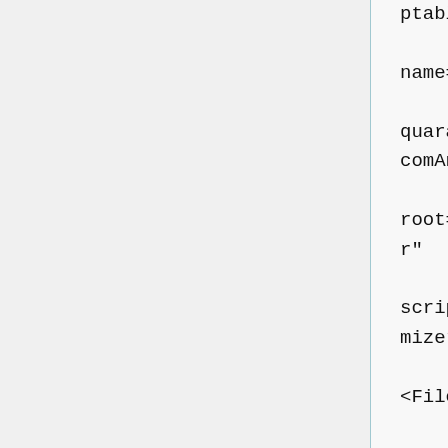ptable.properties"

name="DicomAnonymizer"

quarantine="quarantines/DicomAnonymizer"

root="roots/DicomAnonymizer"

script="scripts/DicomAnonymizer.script"/>

<FileStorageService

class="org.rsna.ctp.stdstages.FileStorageService"

name="FileStorageService"
                port="9667"

quarantine="quarantines/FileStorageService"

returnStoredFile="yes"